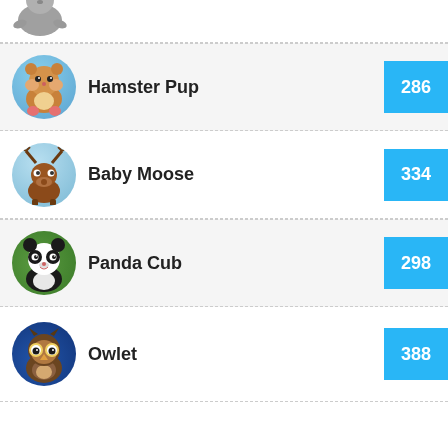[Figure (illustration): Partial view of a cartoon seal/sea lion animal icon at the top of the page (cropped)]
Hamster Pup 286
Baby Moose 334
Panda Cub 298
Owlet 388